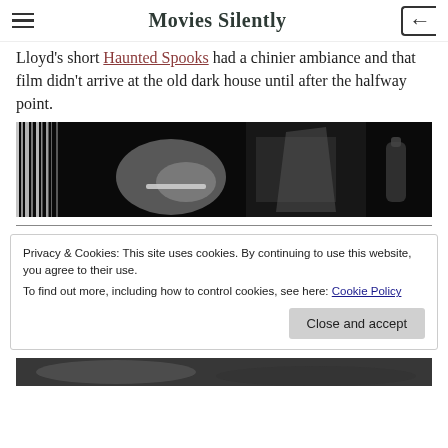Movies Silently
Lloyd's short Haunted Spooks had a chinier ambiance and that film didn't arrive at the old dark house until after the halfway point.
[Figure (photo): Black and white film still showing a close-up of arms/elbows with dramatic lighting and shadows]
Privacy & Cookies: This site uses cookies. By continuing to use this website, you agree to their use.
To find out more, including how to control cookies, see here: Cookie Policy
[Figure (photo): Partial black and white film still at bottom of page]